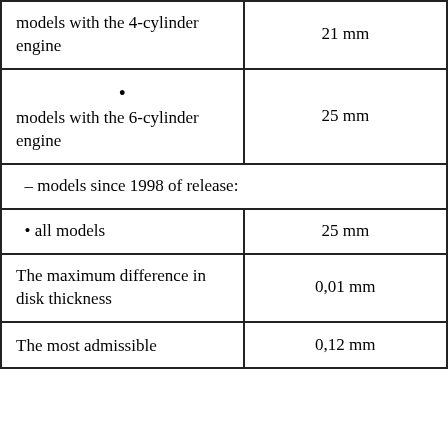| models with the 4-cylinder engine | 21 mm |
| • models with the 6-cylinder engine | 25 mm |
| – models since 1998 of release: |  |
| • all models | 25 mm |
| The maximum difference in disk thickness | 0,01 mm |
| The most admissible [heating] of | 0,12 mm |